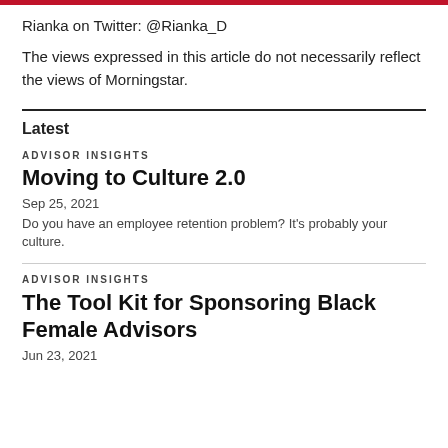Rianka on Twitter: @Rianka_D
The views expressed in this article do not necessarily reflect the views of Morningstar.
Latest
ADVISOR INSIGHTS
Moving to Culture 2.0
Sep 25, 2021
Do you have an employee retention problem? It's probably your culture.
ADVISOR INSIGHTS
The Tool Kit for Sponsoring Black Female Advisors
Jun 23, 2021